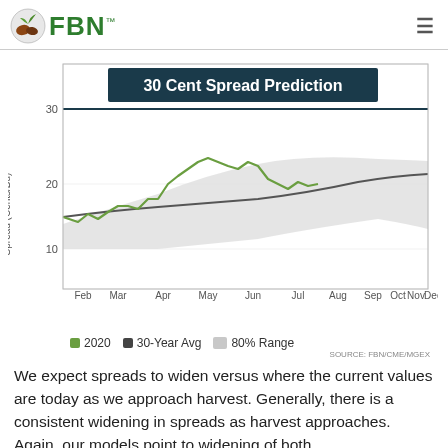FBN
[Figure (line-chart): Line chart showing 30 cent spread prediction with 2020 actual (green), 30-Year Average (dark), and 80% Range (gray shading). Horizontal reference line at 30 cents.]
We expect spreads to widen versus where the current values are today as we approach harvest. Generally, there is a consistent widening in spreads as harvest approaches. Again, our models point to widening of both